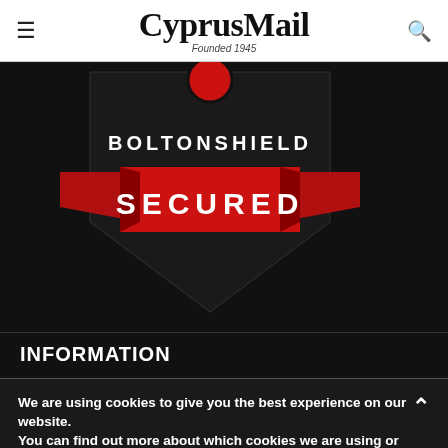CyprusMail — Founded 1945
[Figure (logo): BoltonShield Secured logo: black shield shape with 'BOLTONSHIELD' text in white letters and a red banner across the center reading 'SECURED' in white bold text]
INFORMATION
We are using cookies to give you the best experience on our website.
You can find out more about which cookies we are using or switch them off in settings.